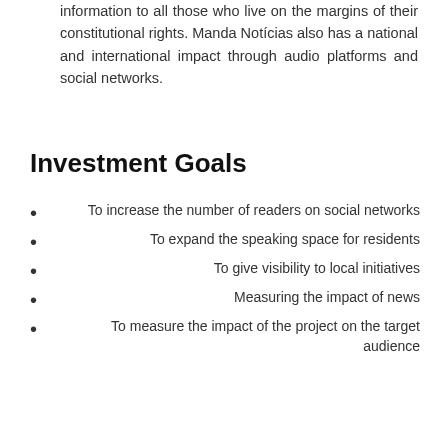information to all those who live on the margins of their constitutional rights. Manda Notícias also has a national and international impact through audio platforms and social networks.
Investment Goals
To increase the number of readers on social networks
To expand the speaking space for residents
To give visibility to local initiatives
Measuring the impact of news
To measure the impact of the project on the target audience